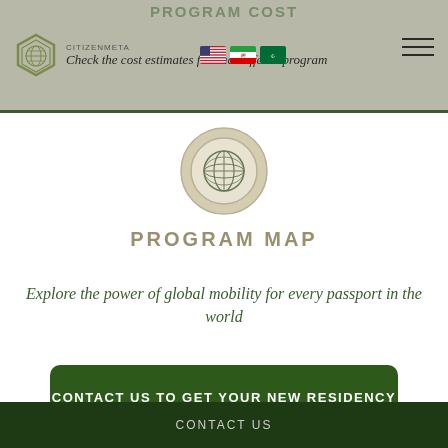PROGRAM COST
Check the cost estimates for each offered program
[Figure (logo): Hexagonal logo with globe icon and brand name CitizenMeta]
[Figure (illustration): Globe icon inside a beige circle with double ring border]
PROGRAM MAP
Explore the power of global mobility for every passport in the world
CONTACT US TO GET YOUR NEW RESIDENCY
CONTACT US